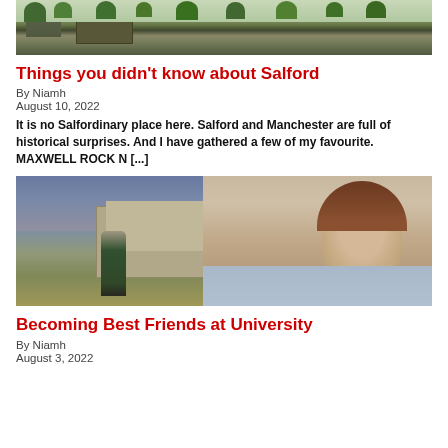[Figure (photo): Landscape photo of a historic building with manicured hedges and trees]
Things you didn't know about Salford
By Niamh
August 10, 2022
It is no Salfordinary place here. Salford and Manchester are full of historical surprises. And I have gathered a few of my favourite. MAXWELL ROCK N [...]
[Figure (photo): Selfie photo of two young women outdoors on a university campus]
Becoming Best Friends at University
By Niamh
August 3, 2022